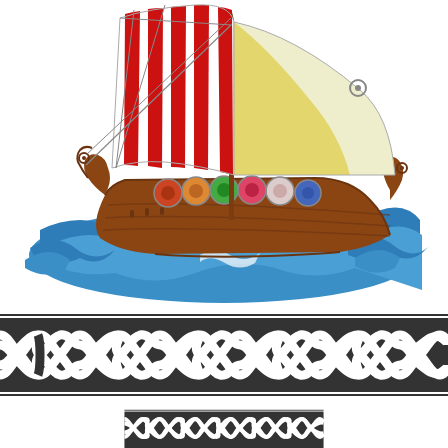[Figure (illustration): Cartoon-style Viking longship with red and white striped sail, brown wooden hull, colorful shields along the side, yellow triangular bow sail, sailing on blue stylized ocean waves with white foam.]
[Figure (illustration): Celtic knotwork decorative border band on dark gray/black background with interlaced white rope pattern forming a continuous braided knot design.]
[Figure (illustration): Partial Celtic knotwork decorative border band, same style as above, showing the top portion of an identical band at the bottom of the page.]